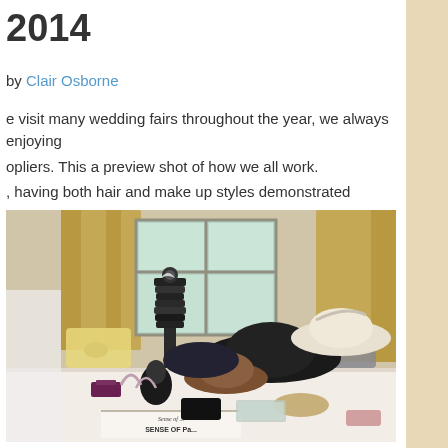2014
by Clair Osborne
e visit many wedding fairs throughout the year, we always enjoying opliers. This a preview shot of how we all work.
, having both hair and make up styles demonstrated
[Figure (photo): Indoor display table with hats, accessories and fashion items at a wedding fair, curtains and window visible in background, sign reading SENSE at bottom]